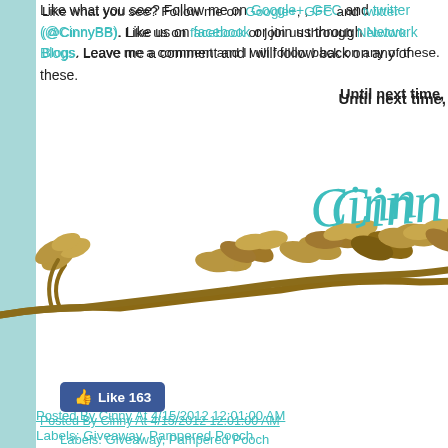Like what you see? Follow me on Google+, GFC and twitter (@CinnyBB). Like us on facebook or join us through Network Blogs. Leave me a comment and I will follow back on any of these.
Until next time,
[Figure (illustration): Decorative cursive signature 'Cinny' in teal, with a brown illustrated branch and leaves in the background]
[Figure (other): Facebook Like button showing 163 likes]
Posted By Cinny At 4/15/2012 12:01:00 AM
Labels: Giveaway, Pampered Pooch
48 COMMENTS:
Amy Orvin said...[Reply]
From Sleepypod-Sleepypod Ultra Plush
Mr.Chewy-Merrick Doggie WishBone Tendons
From Fur Code-I like that Each tag links to an online Pet Profile allowing owners to keep their pet's contact, vet and care information current
Instant Trainer Leash-I like that it uses gentle but firm resistance to discou...
From Soggy Doggy-Caramel/oatmeal bone doormat